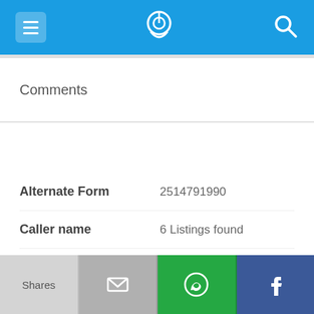[Figure (screenshot): Mobile app top navigation bar with menu hamburger icon on left, phone/location pin icon in center, and search magnifier icon on right, all on blue background]
Comments
251-479-1990
| Field | Value |
| --- | --- |
| Alternate Form | 2514791990 |
| Caller name | 6 Listings found |
| URL | https://www.facebook.co... |
| Last User Search | No searches yet |
[Figure (screenshot): Bottom action bar with four buttons: Shares (light gray), email icon (gray), WhatsApp icon (green), Facebook icon (dark blue)]